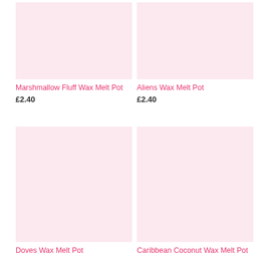[Figure (photo): Light pink product image placeholder for Marshmallow Fluff Wax Melt Pot]
Marshmallow Fluff Wax Melt Pot
£2.40
[Figure (photo): Light pink product image placeholder for Aliens Wax Melt Pot]
Aliens Wax Melt Pot
£2.40
[Figure (photo): Light pink product image placeholder for Doves Wax Melt Pot]
Doves Wax Melt Pot
[Figure (photo): Light pink product image placeholder for Caribbean Coconut Wax Melt Pot]
Caribbean Coconut Wax Melt Pot